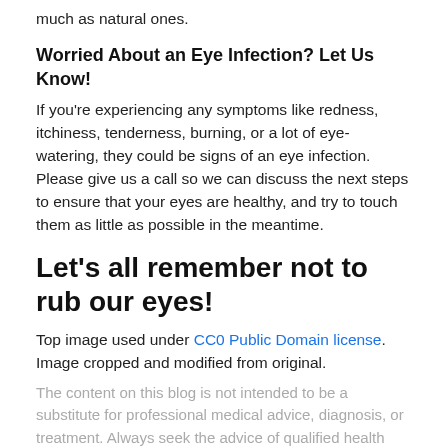much as natural ones.
Worried About an Eye Infection? Let Us Know!
If you’re experiencing any symptoms like redness, itchiness, tenderness, burning, or a lot of eye-watering, they could be signs of an eye infection. Please give us a call so we can discuss the next steps to ensure that your eyes are healthy, and try to touch them as little as possible in the meantime.
Let’s all remember not to rub our eyes!
Top image used under CC0 Public Domain license. Image cropped and modified from original.
The content on this blog is not intended to be a substitute for professional medical advice, diagnosis, or treatment. Always seek the advice of qualified health providers with questions you may have regarding